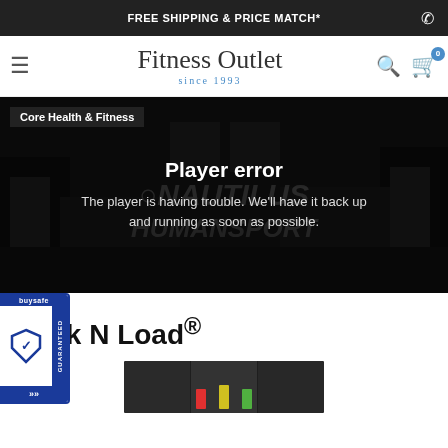FREE SHIPPING & PRICE MATCH*
Fitness Outlet since 1993
[Figure (screenshot): Video player error screen showing a dark gym background with Nautilus/Huma branding watermark. Label reads Core Health & Fitness. Error message: Player error — The player is having trouble. We'll have it back up and running as soon as possible.]
[Figure (logo): BuySafe Guaranteed badge/seal on the left side]
Lock N Load®
[Figure (photo): Partial bottom image strip showing dark background with colored bars (red, green, yellow)]